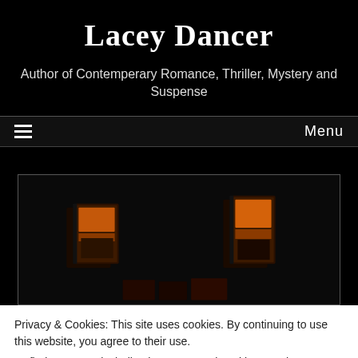Lacey Dancer
Author of Contemperary Romance, Thriller, Mystery and Suspense
≡   Menu
[Figure (photo): Book covers displayed against dark background, showing multiple books side by side]
Privacy & Cookies: This site uses cookies. By continuing to use this website, you agree to their use.
To find out more, including how to control cookies, see here: Cookie Policy
Close and accept